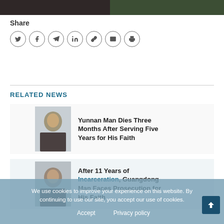[Figure (photo): Partial top strip showing a news article image with people]
Share
[Figure (infographic): Social share icons: Twitter, Facebook, Telegram, LinkedIn, Link, Email, Print]
RELATED NEWS
[Figure (photo): Photo of an older Asian man for related news article 1]
Yunnan Man Dies Three Months After Serving Five Years for His Faith
[Figure (photo): Photo of an Asian man for related news article 2]
After 11 Years of Incarceration, Guangdong Man Faces Prosecution for His Faith
We use cookies to improve your experience on this website. By continuing to use our site, you accept our use of cookies.